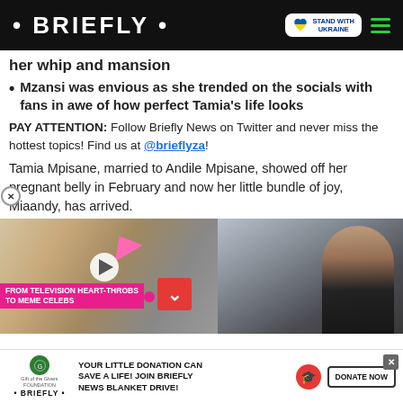• BRIEFLY •
her whip and mansion
Mzansi was envious as she trended on the socials with fans in awe of how perfect Tamia's life looks
PAY ATTENTION: Follow Briefly News on Twitter and never miss the hottest topics! Find us at @brieflyza!
Tamia Mpisane, married to Andile Mpisane, showed off her pregnant belly in February and now her little bundle of joy, Miaandy, has arrived.
[Figure (photo): Split media panel: left side shows a video thumbnail of TV celebrities with a play button and pink label 'FROM TELEVISION HEART-THROBS TO MEME CELEBS', right side shows a woman with dark hair sitting in a car]
YOUR LITTLE DONATION CAN SAVE A LIFE! JOIN BRIEFLY NEWS BLANKET DRIVE!